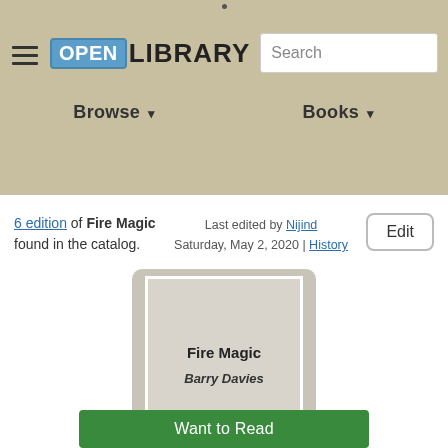Open Library — Browse | Books | Search
6 edition of Fire Magic found in the catalog.
Last edited by Nijind
Saturday, May 2, 2020 | History
Edit
[Figure (illustration): Book cover placeholder for 'Fire Magic' by Barry Davies — grey rectangular cover with title and author text]
Want to Read